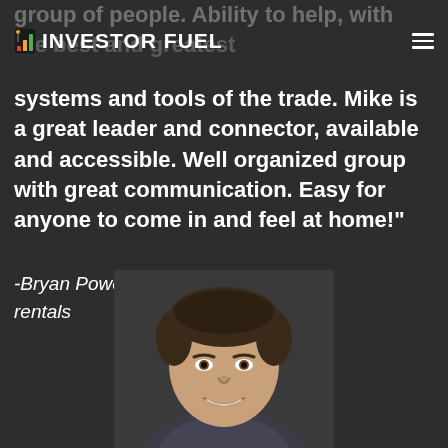Investor Fuel
group of people. Ability to help, with the best and greatest systems and tools of the trade. Mike is a great leader and connector, available and accessible. Well organized group with great communication. Easy for anyone to come in and feel at home!"
-Bryan Powers – Owner in 250+ rentals
[Figure (photo): Headshot of a man in a suit jacket, smiling, dark hair, against a dark background]